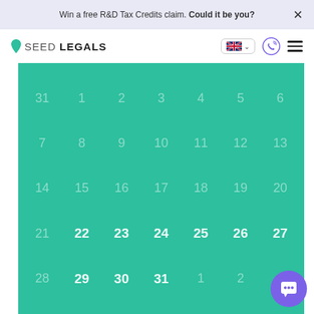Win a free R&D Tax Credits claim. Could it be you?
[Figure (screenshot): SeedLegals website navigation bar with logo, UK flag language selector, phone icon, and hamburger menu]
[Figure (infographic): Monthly calendar displayed on teal/green background showing dates 31, 1-6 in row 1; 7-13 in row 2; 14-20 in row 3; 21-27 in row 4; 28-31, 1, 2 in row 5. Dates 22-27 and 29-31 appear brighter/active.]